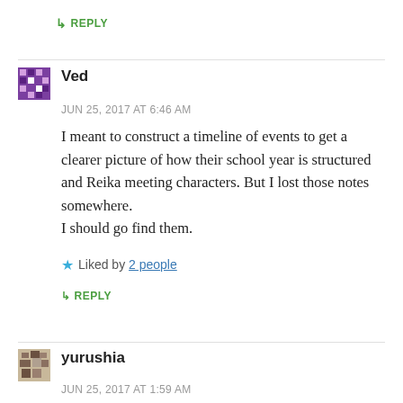↳ REPLY
Ved
JUN 25, 2017 AT 6:46 AM
I meant to construct a timeline of events to get a clearer picture of how their school year is structured and Reika meeting characters. But I lost those notes somewhere.
I should go find them.
Liked by 2 people
↳ REPLY
yurushia
JUN 25, 2017 AT 1:59 AM